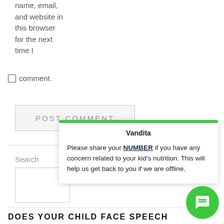name, email, and website in this browser for the next time I
comment.
POST COMMENT
Search
Vandita
Please share your NUMBER if you have any concern related to your kid's nutrition. This will help us get back to you if we are offline.
DOES YOUR CHILD FACE SPEECH